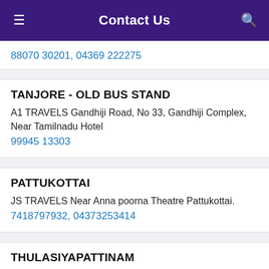Contact Us
88070 30201, 04369 222275
TANJORE - OLD BUS STAND
A1 TRAVELS Gandhiji Road, No 33, Gandhiji Complex, Near Tamilnadu Hotel
99945 13303
PATTUKOTTAI
JS TRAVELS Near Anna poorna Theatre Pattukottai.
7418797932, 04373253414
THULASIYAPATTINAM